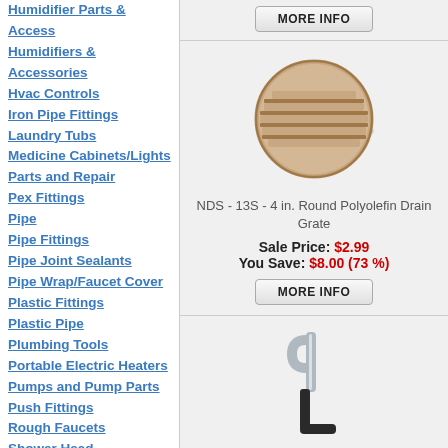Humidifier Parts & Access
Humidifiers & Accessories
Hvac Controls
Iron Pipe Fittings
Laundry Tubs
Medicine Cabinets/Lights
Parts and Repair
Pex Fittings
Pipe
Pipe Fittings
Pipe Joint Sealants
Pipe Wrap/Faucet Cover
Plastic Fittings
Plastic Pipe
Plumbing Tools
Portable Electric Heaters
Pumps and Pump Parts
Push Fittings
Rough Faucets
[Figure (photo): Round beige/tan polyolefin drain grate, circular with parallel slots]
NDS - 13S - 4 in. Round Polyolefin Drain Grate
Sale Price: $2.99
You Save: $8.00 (73 %)
[Figure (photo): Metal hook/bracket, J-shaped silver and dark hook]
MORE INFO
MORE INFO